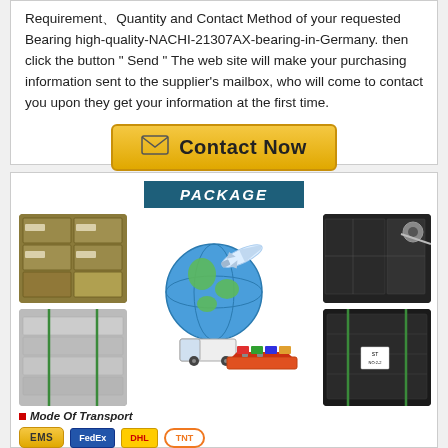Requirement、Quantity and Contact Method of your requested Bearing high-quality-NACHI-21307AX-bearing-in-Germany. then click the button " Send " The web site will make your purchasing information sent to the supplier's mailbox, who will come to contact you upon they get your information at the first time.
[Figure (other): Orange/yellow 'Contact Now' button with envelope icon]
PACKAGE
[Figure (photo): Package photos: stacked brown cardboard boxes on pallet (top-left), wrapped black shipment (top-right), wrapped flat packages (bottom-left), bundled black packages with ST label (bottom-right), center globe and transport vehicles illustration (airplane, truck, ship)]
■ Mode Of Transport
[Figure (other): Payment method icons: yellow button (EMS/express), blue FedEx-style icon, orange logo]